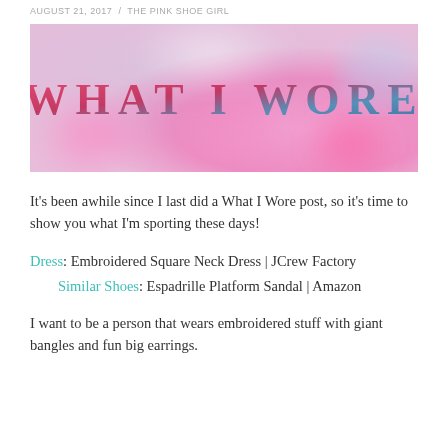AUGUST 21, 2017  /  THE PINK SHOE GIRL
[Figure (illustration): Banner image with blurred pink and blue bokeh background with the text 'WHAT I WORE' in large pink serif letters]
It's been awhile since I last did a What I Wore post, so it's time to show you what I'm sporting these days!
Dress: Embroidered Square Neck Dress | JCrew Factory
Similar Shoes: Espadrille Platform Sandal | Amazon
I want to be a person that wears embroidered stuff with giant bangles and fun big earrings.